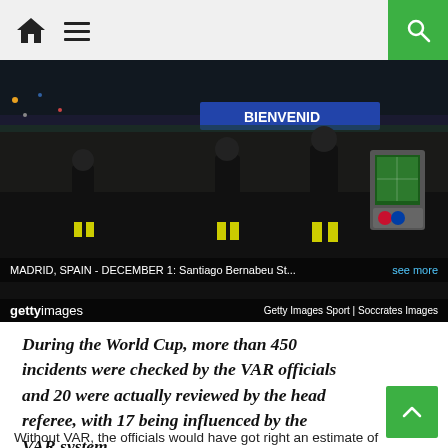Home | Menu | Search
[Figure (photo): Referees in black uniforms standing near a VAR monitor screen at Santiago Bernabeu Stadium, Madrid, Spain. Getty Images Sport | Soccrates Images. Caption: MADRID, SPAIN - DECEMBER 1: Santiago Bernabeu St... see more]
During the World Cup, more than 450 incidents were checked by the VAR officials and 20 were actually reviewed by the head referee, with 17 being influenced by the VAR system.
Without VAR, the officials would have got right an estimate of